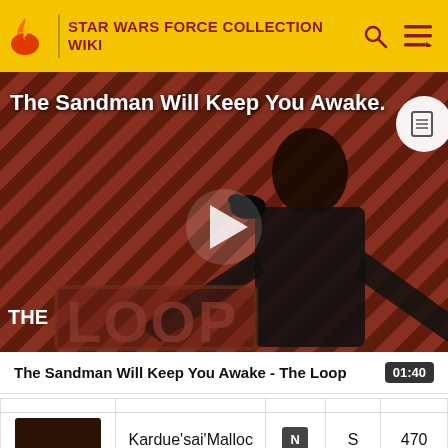STAR WARS FORCE COLLECTION WIKI
[Figure (screenshot): Video thumbnail for 'The Sandman Will Keep You Awake - The Loop' showing a dark-cloaked figure against a red and black striped background with 'THE LOOP' text overlay and a play button in the center.]
The Sandman Will Keep You Awake - The Loop  01:40
|  | Name | Type | Rarity | Power |
| --- | --- | --- | --- | --- |
| [card image] | Kardue'sai'Malloc | N | S | 470 |